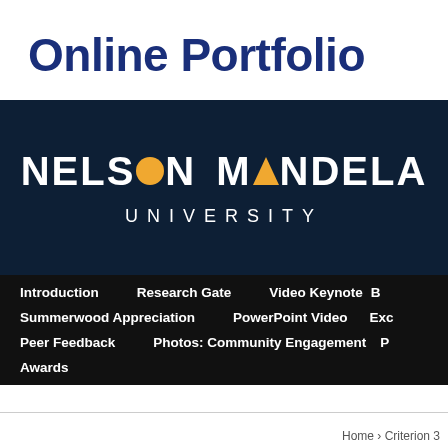Online Portfolio
[Figure (logo): Nelson Mandela University logo on dark navy background with large bold white text 'NELSON MANDELA' and 'UNIVERSITY' below, with orange circle replacing the O in NELSON and orange triangle replacing the A in MANDELA]
[Figure (screenshot): Navigation menu on black background with white bold links: Introduction, Research Gate, Video Keynote, Summerwood Appreciation, PowerPoint Video, Exc(erpts), Peer Feedback, Photos: Community Engagement, P(ortfolio), Awards]
Home › Criterion 3